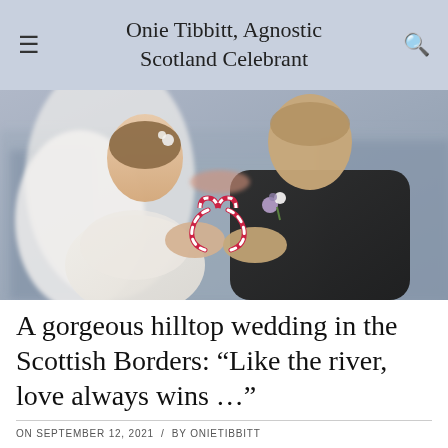Onie Tibbitt, Agnostic Scotland Celebrant
[Figure (photo): Wedding couple kissing and holding two candy canes arranged in a heart shape. The bride wears a white lace dress and veil with flowers in her hair. The groom wears a dark suit with a floral boutonniere (white and purple flowers). Background is blurred urban architecture.]
A gorgeous hilltop wedding in the Scottish Borders: “Like the river, love always wins …”
ON SEPTEMBER 12, 2021 / BY ONIETIBBITT